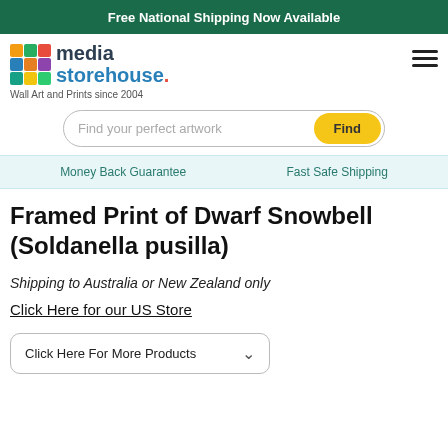Free National Shipping Now Available
[Figure (logo): Media Storehouse logo with colorful grid squares and text 'media storehouse.']
Wall Art and Prints since 2004
Find your perfect artwork Find
Money Back Guarantee   Fast Safe Shipping
Framed Print of Dwarf Snowbell (Soldanella pusilla)
Shipping to Australia or New Zealand only
Click Here for our US Store
Click Here For More Products